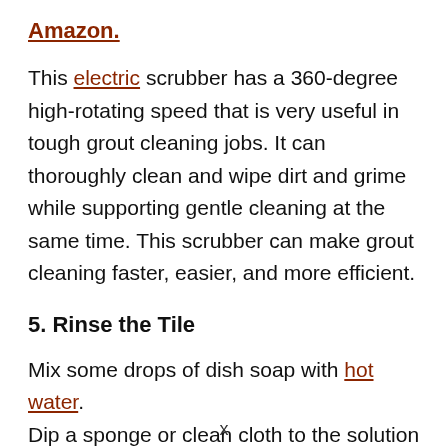Amazon.
This electric scrubber has a 360-degree high-rotating speed that is very useful in tough grout cleaning jobs. It can thoroughly clean and wipe dirt and grime while supporting gentle cleaning at the same time. This scrubber can make grout cleaning faster, easier, and more efficient.
5. Rinse the Tile
Mix some drops of dish soap with hot water. Dip a sponge or clean cloth to the solution
x